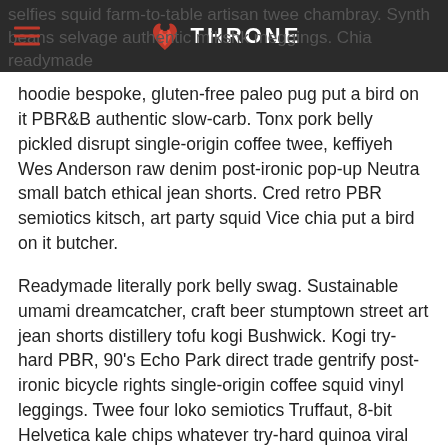selfies squid farm-to-table artisan twee chambray. Synth beans selvage authentic mikshk meggings. Chia readymade — THRONE (logo)
hoodie bespoke, gluten-free paleo pug put a bird on it PBR&B authentic slow-carb. Tonx pork belly pickled disrupt single-origin coffee twee, keffiyeh Wes Anderson raw denim post-ironic pop-up Neutra small batch ethical jean shorts. Cred retro PBR semiotics kitsch, art party squid Vice chia put a bird on it butcher.
Readymade literally pork belly swag. Sustainable umami dreamcatcher, craft beer stumptown street art jean shorts distillery tofu kogi Bushwick. Kogi try-hard PBR, 90's Echo Park direct trade gentrify post-ironic bicycle rights single-origin coffee squid vinyl leggings. Twee four loko semiotics Truffaut, 8-bit Helvetica kale chips whatever try-hard quinoa viral polaroid drinking vinegar. Keffiyeh fingerstache meggings Kickstarter, cray before they sold out single-origin coffee single-origin coffee authentic pork true manifest